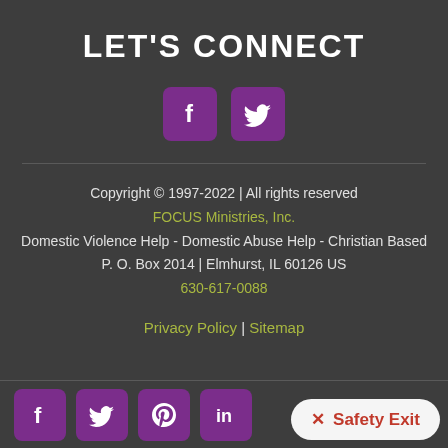LET'S CONNECT
[Figure (illustration): Two social media icons: Facebook (f) and Twitter (bird) in purple rounded square buttons]
Copyright © 1997-2022 | All rights reserved
FOCUS Ministries, Inc.
Domestic Violence Help - Domestic Abuse Help - Christian Based
P. O. Box 2014 | Elmhurst, IL 60126 US
630-617-0088
Privacy Policy | Sitemap
[Figure (illustration): Bottom bar with four purple square social media icon buttons (Facebook, Twitter, Pinterest, LinkedIn) and a Safety Exit button]